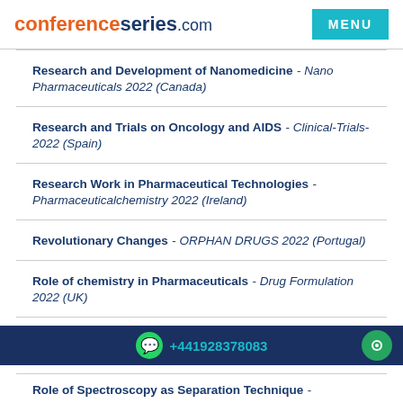conferenceseries.com | MENU
Research and Development of Nanomedicine - Nano Pharmaceuticals 2022 (Canada)
Research and Trials on Oncology and AIDS - Clinical-Trials-2022 (Spain)
Research Work in Pharmaceutical Technologies - Pharmaceuticalchemistry 2022 (Ireland)
Revolutionary Changes - ORPHAN DRUGS 2022 (Portugal)
Role of chemistry in Pharmaceuticals - Drug Formulation 2022 (UK)
Role of long term antibiotics & antimicrobial in diseases - Antibiotics Resistance 2022 (Canada)
+441928378083
Role of Spectroscopy as Separation Technique -